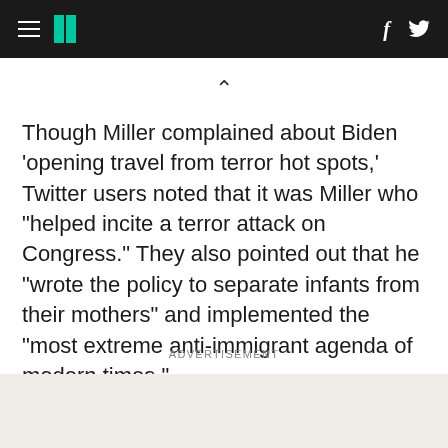HuffPost header navigation with hamburger menu, logo, Facebook and Twitter icons
Though Miller complained about Biden ‘opening travel from terror hot spots,’ Twitter users noted that it was Miller who “helped incite a terror attack on Congress.” They also pointed out that he “wrote the policy to separate infants from their mothers” and implemented the “most extreme anti-immigrant agenda of modern times.”
ADVERTISEMENT